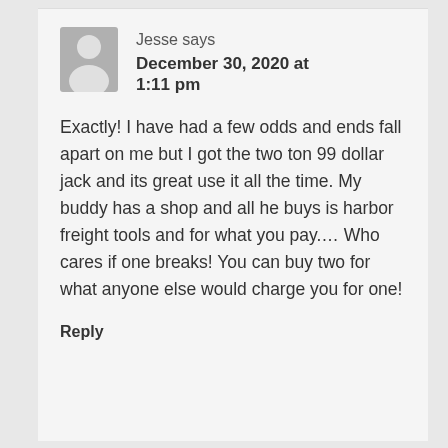Jesse says December 30, 2020 at 1:11 pm
Exactly! I have had a few odds and ends fall apart on me but I got the two ton 99 dollar jack and its great use it all the time. My buddy has a shop and all he buys is harbor freight tools and for what you pay.... Who cares if one breaks! You can buy two for what anyone else would charge you for one!
Reply